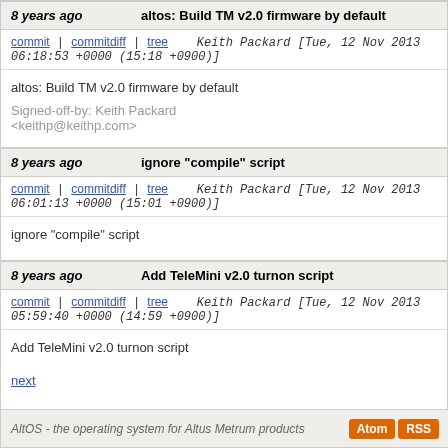8 years ago  altos: Build TM v2.0 firmware by default
commit | commitdiff | tree   Keith Packard [Tue, 12 Nov 2013 06:18:53 +0000 (15:18 +0900)]
altos: Build TM v2.0 firmware by default

Signed-off-by: Keith Packard <keithp@keithp.com>
8 years ago  ignore "compile" script
commit | commitdiff | tree   Keith Packard [Tue, 12 Nov 2013 06:01:13 +0000 (15:01 +0900)]
ignore "compile" script
8 years ago  Add TeleMini v2.0 turnon script
commit | commitdiff | tree   Keith Packard [Tue, 12 Nov 2013 05:59:40 +0000 (14:59 +0900)]
Add TeleMini v2.0 turnon script
next
AltOS - the operating system for Altus Metrum products